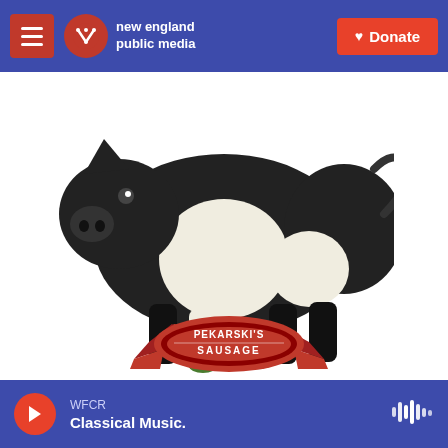new england public media — Donate
[Figure (illustration): Pekarski's Sausage logo: a black and white pig standing over a red ribbon banner reading 'PEKARSKI'S SAUSAGE']
Related Content
[Figure (photo): Partially visible thumbnail image at the bottom of the page]
WFCR — Classical Music.